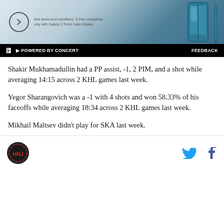[Figure (other): Advertisement banner showing a Samsung Galaxy Z Fold4 phone with S Pen, teal/blue gradient background, circle with right arrow icon, and fine print text]
POWERED BY CONCERT   FEEDBACK
Shakir Mukhamadullin had a PP assist, -1, 2 PIM, and a shot while averaging 14:15 across 2 KHL games last week.
Yegor Sharangovich was a -1 with 4 shots and won 58.33% of his faceoffs while averaging 18:34 across 2 KHL games last week.
Mikhail Maltsev didn't play for SKA last week.
HNJ logo | Twitter icon | Facebook icon